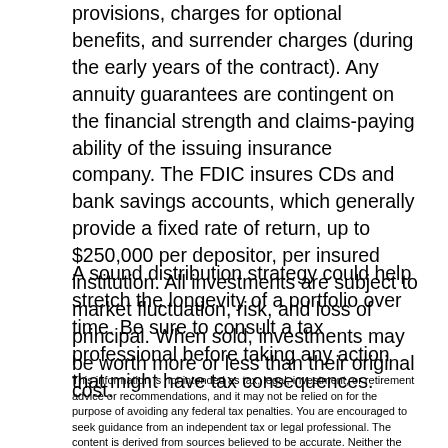provisions, charges for optional benefits, and surrender charges (during the early years of the contract). Any annuity guarantees are contingent on the financial strength and claims-paying ability of the issuing insurance company. The FDIC insures CDs and bank savings accounts, which generally provide a fixed rate of return, up to $250,000 per depositor, per insured institution. All investments are subject to market fluctuation, risk, and loss of principal. When sold, investments may be worth more or less than their original cost.
A sound distribution strategy could help stretch the longevity of a portfolio over time. Be sure to consult a tax professional before taking any action that might have tax consequences.
This information is not intended as tax, legal, investment, or retirement advice or recommendations, and it may not be relied on for the purpose of avoiding any federal tax penalties. You are encouraged to seek guidance from an independent tax or legal professional. The content is derived from sources believed to be accurate. Neither the information presented nor any opinion expressed constitutes a solicitation for the purchase or sale of any security. This